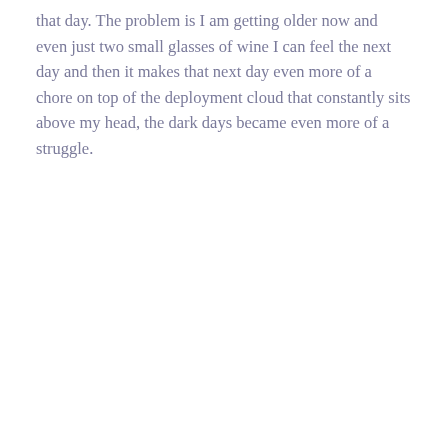that day. The problem is I am getting older now and even just two small glasses of wine I can feel the next day and then it makes that next day even more of a chore on top of the deployment cloud that constantly sits above my head, the dark days became even more of a struggle.